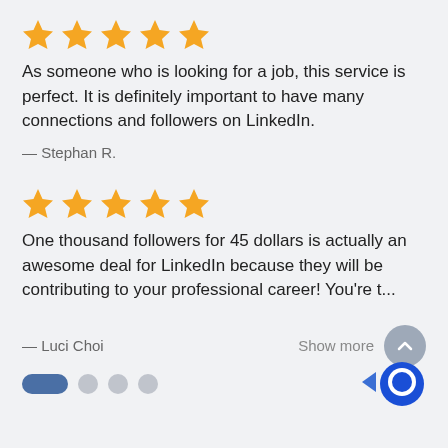[Figure (other): Five orange/gold star rating icons]
As someone who is looking for a job, this service is perfect. It is definitely important to have many connections and followers on LinkedIn.
— Stephan R.
[Figure (other): Five orange/gold star rating icons]
One thousand followers for 45 dollars is actually an awesome deal for LinkedIn because they will be contributing to your professional career! You're t...
— Luci Choi
Show more